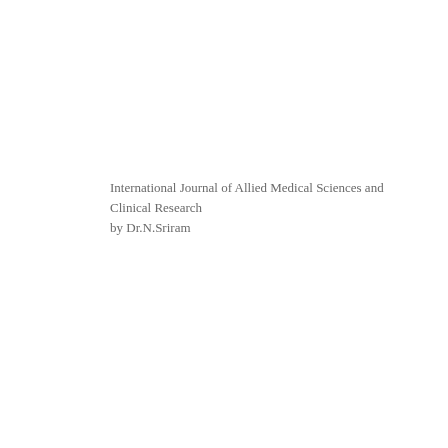International Journal of Allied Medical Sciences and Clinical Research by Dr.N.Sriram